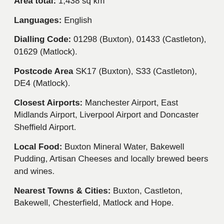Area total: 1,438 sq km
Languages: English
Dialling Code: 01298 (Buxton), 01433 (Castleton), 01629 (Matlock).
Postcode Area SK17 (Buxton), S33 (Castleton), DE4 (Matlock).
Closest Airports: Manchester Airport, East Midlands Airport, Liverpool Airport and Doncaster Sheffield Airport.
Local Food: Buxton Mineral Water, Bakewell Pudding, Artisan Cheeses and locally brewed beers and wines.
Nearest Towns & Cities: Buxton, Castleton, Bakewell, Chesterfield, Matlock and Hope.